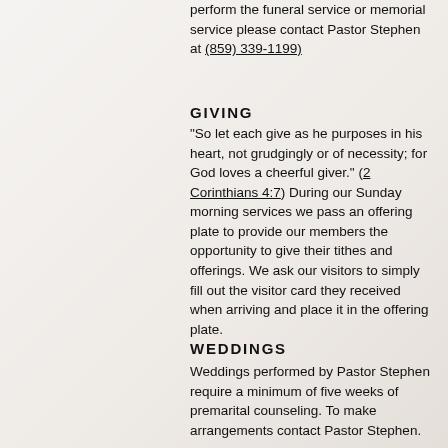perform the funeral service or memorial service please contact Pastor Stephen at (859) 339-1199)
GIVING
“So let each give as he purposes in his heart, not grudgingly or of necessity; for God loves a cheerful giver.” (2 Corinthians 4:7)  During our Sunday morning services we pass an offering plate to provide our members the opportunity to give their tithes and offerings. We ask our visitors to simply fill out the visitor card they received when arriving and place it in the offering plate.
WEDDINGS
Weddings performed by Pastor Stephen require a minimum of five weeks of premarital counseling. To make arrangements contact Pastor Stephen.